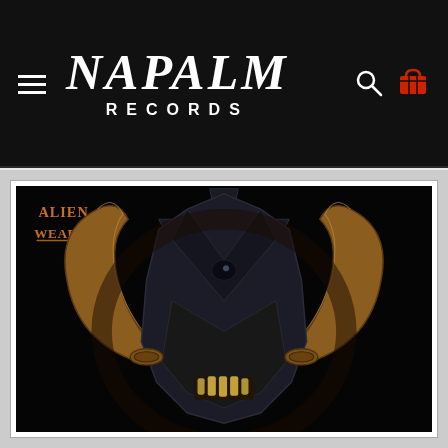[Figure (logo): Napalm Records website navigation bar with hamburger menu icon on left, Napalm Records logo in center (white stylized serif italic text), and search and cart icons on right (cart in red) on black background]
[Figure (photo): Album artwork for Alien Weaponry showing a dark demonic/horned skull creature against a black background. The band logo 'Alien Weaponry' appears in orange runic-style lettering in the upper left corner. The creature has large curved golden-brown horns and a bat-wing shaped face with glowing teeth.]